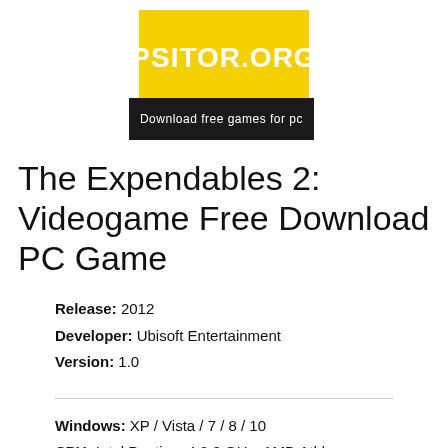[Figure (logo): PSITOR.ORG logo with yellow background and black banner reading 'Download free games for pc']
The Expendables 2: Videogame Free Download PC Game
Release: 2012
Developer: Ubisoft Entertainment
Version: 1.0
Windows: XP / Vista / 7 / 8 / 10
CPU: Intel Pentium 4 2,0 GHz, AMD Athlon 64 2400+